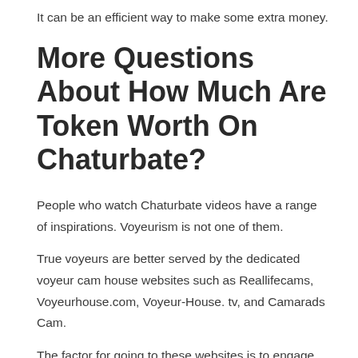It can be an efficient way to make some extra money.
More Questions About How Much Are Token Worth On Chaturbate?
People who watch Chaturbate videos have a range of inspirations. Voyeurism is not one of them.
True voyeurs are better served by the dedicated voyeur cam house websites such as Reallifecams, Voyeurhouse.com, Voyeur-House. tv, and Camarads Cam.
The factor for going to these websites is to engage with the attractive models who frequently offer live chats, photo shoots, and even sex.
The Internet of Things (IoT) is a term used to explain the next generation of connected gadgets such as home appliances,